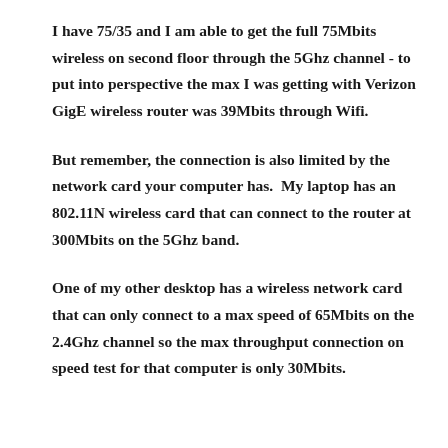I have 75/35 and I am able to get the full 75Mbits wireless on second floor through the 5Ghz channel - to put into perspective the max I was getting with Verizon GigE wireless router was 39Mbits through Wifi.
But remember, the connection is also limited by the network card your computer has.  My laptop has an 802.11N wireless card that can connect to the router at 300Mbits on the 5Ghz band.
One of my other desktop has a wireless network card that can only connect to a max speed of 65Mbits on the 2.4Ghz channel so the max throughput connection on speed test for that computer is only 30Mbits.